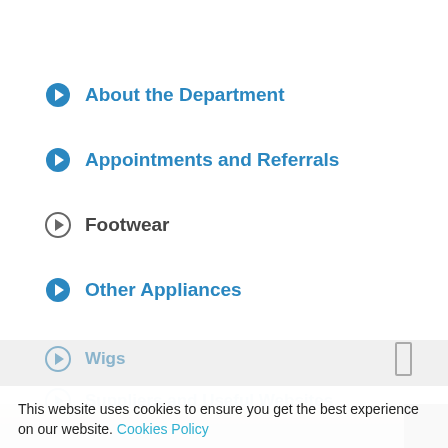About the Department
Appointments and Referrals
Footwear
Other Appliances
Wigs
Suppliers and Useful Websites
This website uses cookies to ensure you get the best experience on our website. Cookies Policy
Privacy Policy
Decline
Allow cookies
[Figure (photo): Photo of a woman at a desk with bookshelves, partially visible at the bottom of the page]